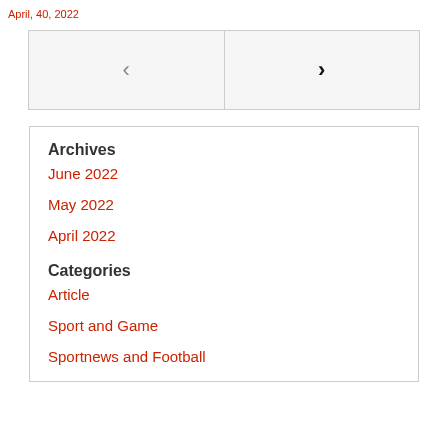April, 40, 2022
[Figure (other): Navigation box with left arrow (<) and right arrow (>) buttons side by side on a light gray background]
Archives
June 2022
May 2022
April 2022
Categories
Article
Sport and Game
Sportnews and Football